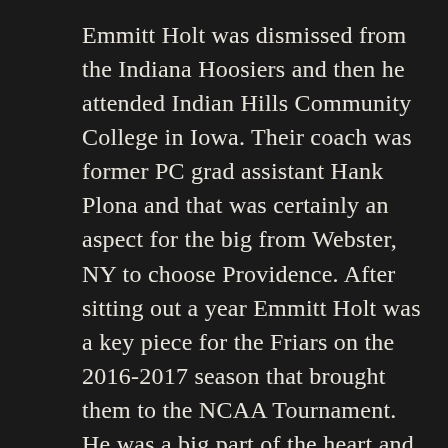Emmitt Holt was dismissed from the Indiana Hoosiers and then he attended Indian Hills Community College in Iowa. Their coach was former PC grad assistant Hank Plona and that was certainly an aspect for the big from Webster, NY to choose Providence. After sitting out a year Emmitt Holt was a key piece for the Friars on the 2016-2017 season that brought them to the NCAA Tournament. He was a big part of the heart and soul culture that Ed Cooley has created. His last year of eligibility was supposed to be 2017-2018 however an abdominal illness that almost took his life put his “senior” season on hold. Holt made it back the next season but clearly his conditioning was nowhere close and he was granted another year of eligibility. If Emmitt was perfectly...